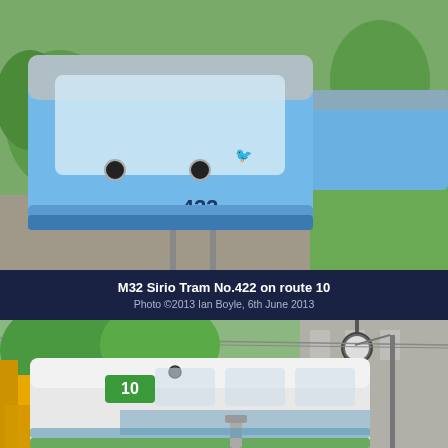[Figure (photo): A blue M32 Sirio tram numbered 422 on route 10, photographed from the front at a tram stop. The tram is light blue with a grey roof section. Green grass and trees visible in background.]
M32 Sirio Tram No.422 on route 10
Photo ©2013 Ian Boyle, 6th June 2013
[Figure (photo): A white M32 Sirio tram showing route number 10 on its destination board, photographed at a city stop. Trees and a building visible in the background. Yellow machinery visible on the left side.]